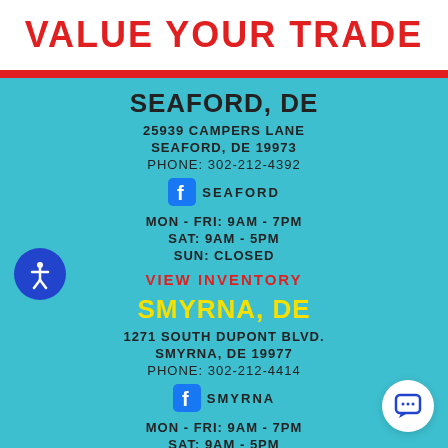VALUE YOUR TRADE
SEAFORD, DE
25939 CAMPERS LANE
SEAFORD, DE 19973
PHONE: 302-212-4392
f SEAFORD
MON - FRI: 9AM - 7PM
SAT: 9AM - 5PM
SUN: CLOSED
VIEW INVENTORY
SMYRNA, DE
1271 SOUTH DUPONT BLVD.
SMYRNA, DE 19977
PHONE: 302-212-4414
f SMYRNA
MON - FRI: 9AM - 7PM
SAT: 9AM - 5PM
SUN: CLOSED